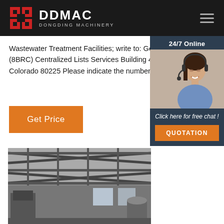DDMAC DONGDING MACHINERY
Wastewater Treatment Facilities; write to: General Services Administration (8BRC) Centralized Lists Services Building 41, Denver Federal C Denver, Colorado 80225 Please indicate the number and title of publication.
[Figure (other): Orange 'Get Price' button]
[Figure (other): 24/7 Online chat panel with customer service representative photo and QUOTATION button]
[Figure (photo): Interior of an industrial factory/warehouse showing steel roof trusses and industrial machinery]